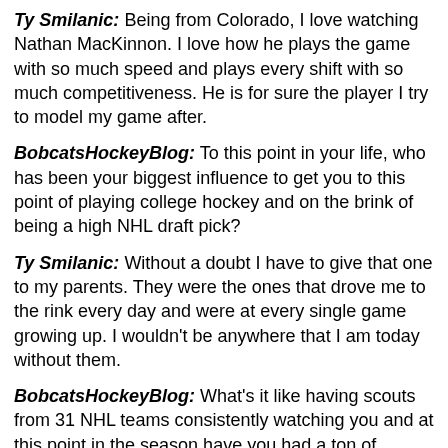Ty Smilanic: Being from Colorado, I love watching Nathan MacKinnon. I love how he plays the game with so much speed and plays every shift with so much competitiveness. He is for sure the player I try to model my game after.
BobcatsHockeyBlog: To this point in your life, who has been your biggest influence to get you to this point of playing college hockey and on the brink of being a high NHL draft pick?
Ty Smilanic: Without a doubt I have to give that one to my parents. They were the ones that drove me to the rink every day and were at every single game growing up. I wouldn't be anywhere that I am today without them.
BobcatsHockeyBlog: What's it like having scouts from 31 NHL teams consistently watching you and at this point in the season have you had a ton of contact with them?
Ty Smilanic: Yes I have talk to a good amount of NHL teams. It is nerve-racking but I've learned as time is going on that I just need to play my game and the rest will figure itself